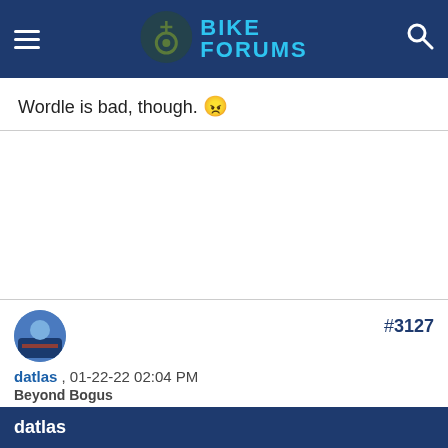BIKE FORUMS
Wordle is bad, though. 😠
#3127
datlas , 01-22-22 02:04 PM
Beyond Bogus
datlas